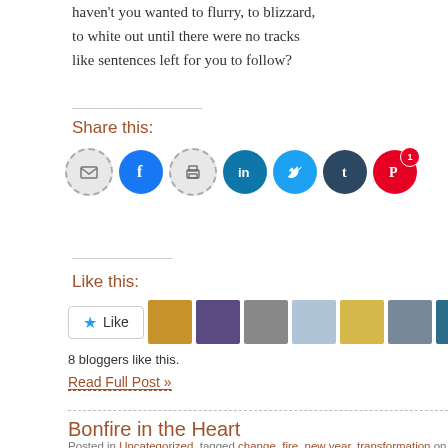haven't you wanted to flurry, to blizzard, to white out until there were no tracks like sentences left for you to follow?
Share this:
[Figure (infographic): Row of social sharing icon buttons: email (grey dashed circle), Facebook (blue circle), print (grey dashed circle), LinkedIn (teal circle), Twitter (cyan circle), Tumblr (dark blue circle), Pinterest (red circle with badge showing 1)]
Like this:
[Figure (infographic): Like button widget with star icon and 'Like' text, followed by 8 small avatar thumbnails of bloggers]
8 bloggers like this.
Read Full Post »
Bonfire in the Heart
Posted in Uncategorized, tagged change, fire, new year, transformation on December Comments »